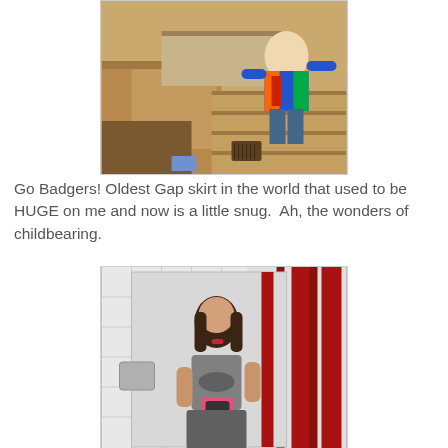[Figure (photo): A child in colorful patterned pajamas on wooden stairs/kitchen area, photo taken from above at an angle]
Go Badgers! Oldest Gap skirt in the world that used to be HUGE on me and now is a little snug.  Ah, the wonders of childbearing.
[Figure (photo): A woman taking a mirror selfie in what appears to be a public restroom with red stall dividers, wearing a grey t-shirt and holding a pink phone]